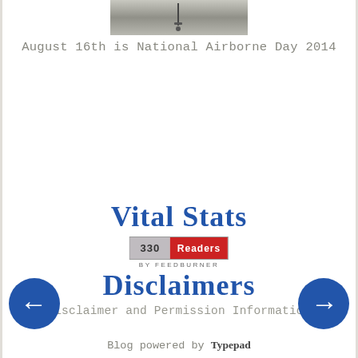[Figure (photo): Cropped photo showing a parachutist or antenna silhouette against a grey sky]
August 16th is National Airborne Day 2014
Vital Stats
[Figure (infographic): FeedBurner badge showing 330 Readers BY FEEDBURNER]
Disclaimers
Disclaimer and Permission Information
Blog powered by Typepad